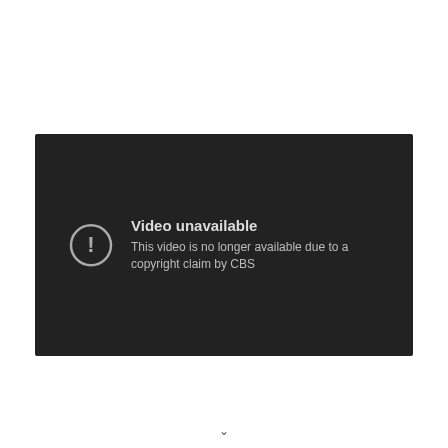[Figure (screenshot): A YouTube-style video unavailable error screen. Dark background with a circle exclamation mark icon on the left, and text 'Video unavailable' as title and 'This video is no longer available due to a copyright claim by CBS' as description on the right.]
Video unavailable
This video is no longer available due to a copyright claim by CBS